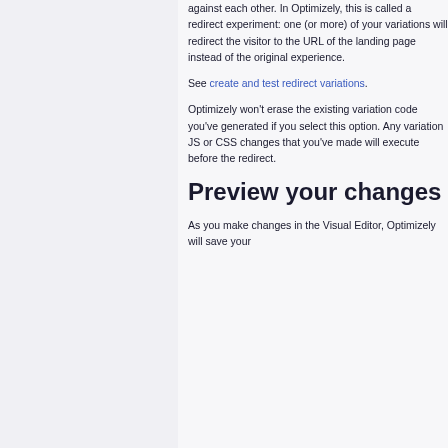against each other. In Optimizely, this is called a redirect experiment: one (or more) of your variations will redirect the visitor to the URL of the landing page instead of the original experience.
See create and test redirect variations.
Optimizely won't erase the existing variation code you've generated if you select this option. Any variation JS or CSS changes that you've made will execute before the redirect.
Preview your changes
As you make changes in the Visual Editor, Optimizely will save your